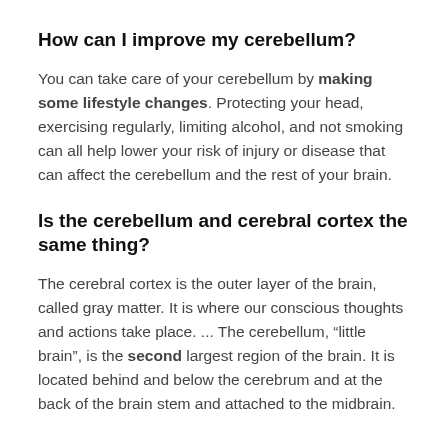How can I improve my cerebellum?
You can take care of your cerebellum by making some lifestyle changes. Protecting your head, exercising regularly, limiting alcohol, and not smoking can all help lower your risk of injury or disease that can affect the cerebellum and the rest of your brain.
Is the cerebellum and cerebral cortex the same thing?
The cerebral cortex is the outer layer of the brain, called gray matter. It is where our conscious thoughts and actions take place. ... The cerebellum, “little brain”, is the second largest region of the brain. It is located behind and below the cerebrum and at the back of the brain stem and attached to the midbrain.